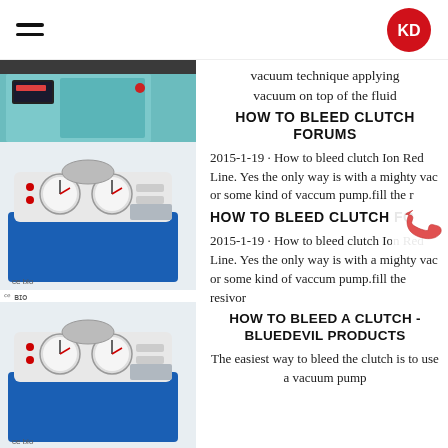KD logo header with hamburger menu
[Figure (photo): Top portion of a laboratory/medical device (blue and teal colored machine with display panel), partially cropped]
vacuum technique applying vacuum on top of the fluid
HOW TO BLEED CLUTCH FORUMS
[Figure (photo): White and blue water circulation vacuum pump with two gauges and CE bio certification mark]
2015-1-19 · How to bleed clutch Ion Red Line. Yes the only way is with a mighty vac or some kind of vaccum pump.fill the r
HOW TO BLEED CLUTCH FO
[Figure (photo): Second identical white and blue water circulation vacuum pump with two gauges and CE bio certification mark]
2015-1-19 · How to bleed clutch Ion Red Line. Yes the only way is with a mighty vac or some kind of vaccum pump.fill the resivor
HOW TO BLEED A CLUTCH - BLUEDEVIL PRODUCTS
[Figure (photo): Laboratory glass reactor/distillation apparatus with metal frame and glassware]
The easiest way to bleed the clutch is to use a vacuum pump